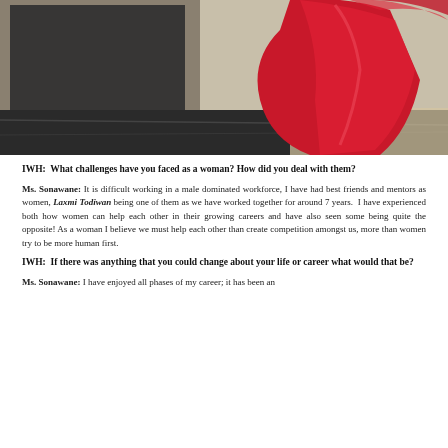[Figure (photo): Photo of a woman in a red dress standing near a marble floor and dark wall/mirror]
IWH:  What challenges have you faced as a woman? How did you deal with them?
Ms. Sonawane: It is difficult working in a male dominated workforce, I have had best friends and mentors as women, Laxmi Todiwan being one of them as we have worked together for around 7 years.  I have experienced both how women can help each other in their growing careers and have also seen some being quite the opposite! As a woman I believe we must help each other than create competition amongst us, more than women try to be more human first.
IWH:  If there was anything that you could change about your life or career what would that be?
Ms. Sonawane: I have enjoyed all phases of my career; it has been an